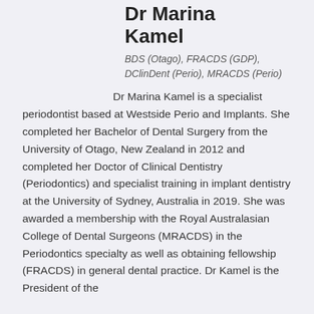Dr Marina Kamel
BDS (Otago), FRACDS (GDP), DClinDent (Perio), MRACDS (Perio)
Dr Marina Kamel is a specialist periodontist based at Westside Perio and Implants. She completed her Bachelor of Dental Surgery from the University of Otago, New Zealand in 2012 and completed her Doctor of Clinical Dentistry (Periodontics) and specialist training in implant dentistry at the University of Sydney, Australia in 2019. She was awarded a membership with the Royal Australasian College of Dental Surgeons (MRACDS) in the Periodontics specialty as well as obtaining fellowship (FRACDS) in general dental practice. Dr Kamel is the President of the